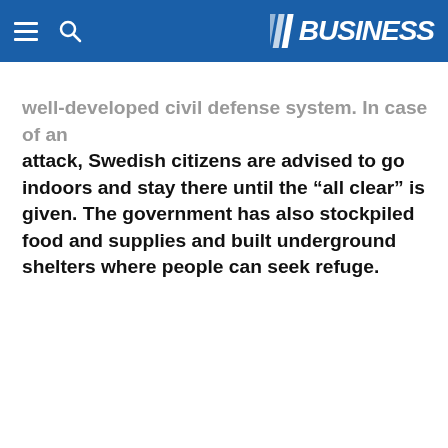BUSINESS
well-developed civil defense system. In case of an attack, Swedish citizens are advised to go indoors and stay there until the “all clear” is given. The government has also stockpiled food and supplies and built underground shelters where people can seek refuge.